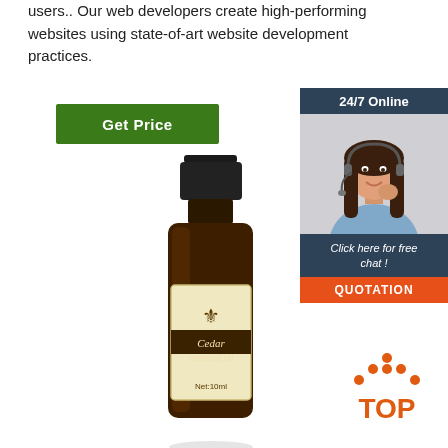users.. Our web developers create high-performing websites using state-of-art website development practices.
[Figure (other): Green 'Get Price' button]
[Figure (other): 24/7 Online chat widget with female customer service representative wearing headset. Includes 'Click here for free chat!' text and orange QUOTATION button.]
[Figure (photo): Cedar essential oil bottle - dark amber glass bottle with black cap, cream label showing a fleur-de-lis emblem, text 'Cedar essential oil', 'Net:10ml']
[Figure (other): Orange and red 'TOP' arrow button icon]